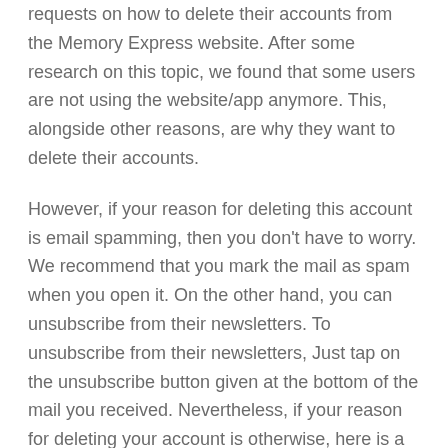requests on how to delete their accounts from the Memory Express website. After some research on this topic, we found that some users are not using the website/app anymore. This, alongside other reasons, are why they want to delete their accounts.
However, if your reason for deleting this account is email spamming, then you don't have to worry. We recommend that you mark the mail as spam when you open it. On the other hand, you can unsubscribe from their newsletters. To unsubscribe from their newsletters, Just tap on the unsubscribe button given at the bottom of the mail you received. Nevertheless, if your reason for deleting your account is otherwise, here is a step-by-step method on how to close your account from the website.
How To Delete Memory